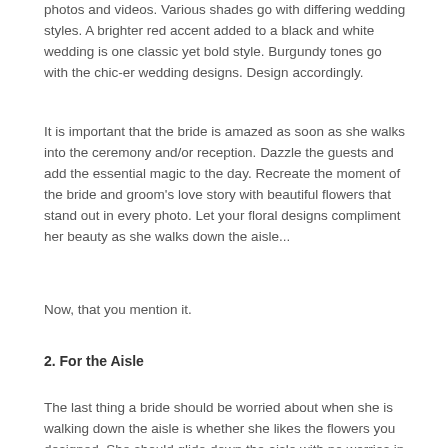photos and videos. Various shades go with differing wedding styles. A brighter red accent added to a black and white wedding is one classic yet bold style. Burgundy tones go with the chic-er wedding designs. Design accordingly.
It is important that the bride is amazed as soon as she walks into the ceremony and/or reception. Dazzle the guests and add the essential magic to the day. Recreate the moment of the bride and groom's love story with beautiful flowers that stand out in every photo. Let your floral designs compliment her beauty as she walks down the aisle...
Now, that you mention it.
2. For the Aisle
The last thing a bride should be worried about when she is walking down the aisle is whether she likes the flowers you designed. She should glide down the aisle with no worries in